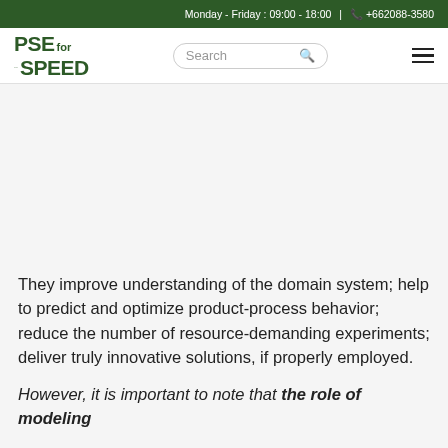Monday - Friday : 09:00 - 18:00  |  +662088-3580
[Figure (logo): PSE for SPEED logo in dark green]
They improve understanding of the domain system; help to predict and optimize product-process behavior; reduce the number of resource-demanding experiments; deliver truly innovative solutions, if properly employed.
However, it is important to note that the role of modeling